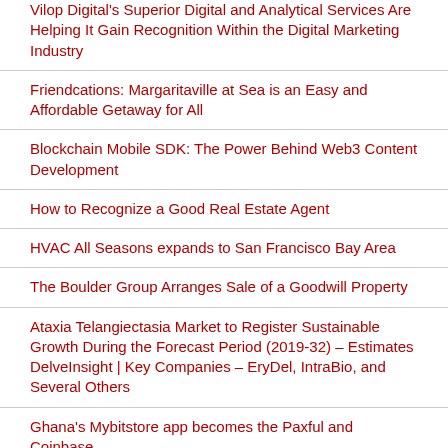Vilop Digital's Superior Digital and Analytical Services Are Helping It Gain Recognition Within the Digital Marketing Industry
Friendcations: Margaritaville at Sea is an Easy and Affordable Getaway for All
Blockchain Mobile SDK: The Power Behind Web3 Content Development
How to Recognize a Good Real Estate Agent
HVAC All Seasons expands to San Francisco Bay Area
The Boulder Group Arranges Sale of a Goodwill Property
Ataxia Telangiectasia Market to Register Sustainable Growth During the Forecast Period (2019-32) – Estimates DelveInsight | Key Companies – EryDel, IntraBio, and Several Others
Ghana's Mybitstore app becomes the Paxful and Coinbase